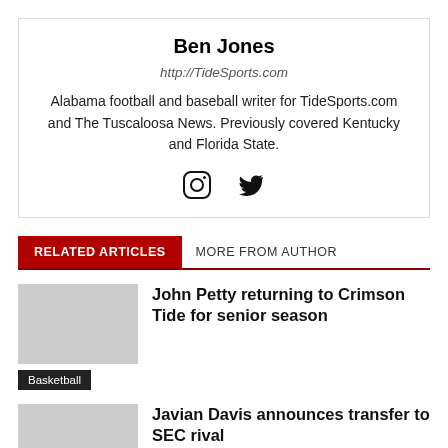Ben Jones
http://TideSports.com
Alabama football and baseball writer for TideSports.com and The Tuscaloosa News. Previously covered Kentucky and Florida State.
[Figure (other): Social media icons: Instagram and Twitter]
RELATED ARTICLES   MORE FROM AUTHOR
John Petty returning to Crimson Tide for senior season
Basketball
Javian Davis announces transfer to SEC rival
Men's Basketball